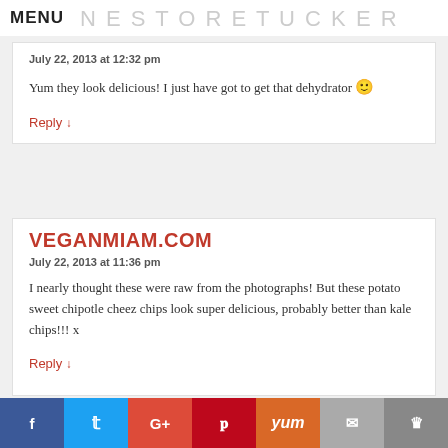MENU
July 22, 2013 at 12:32 pm
Yum they look delicious! I just have got to get that dehydrator 🙂
Reply ↓
VEGANMIAM.COM
July 22, 2013 at 11:36 pm
I nearly thought these were raw from the photographs! But these potato sweet chipotle cheez chips look super delicious, probably better than kale chips!!! x
Reply ↓